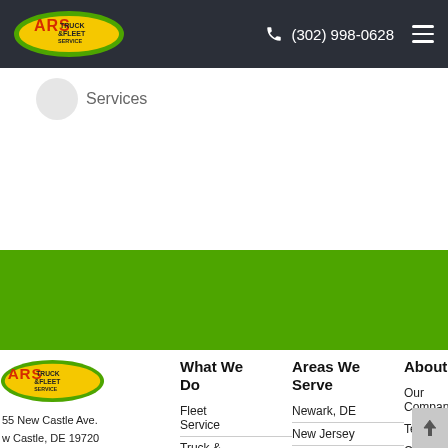ARS Truck & Fleet Service | (302) 998-0628
Services
[Figure (other): Green banner/hero image area]
[Figure (logo): ARS Truck & Fleet Service logo (footer)]
55 New Castle Ave.
w Castle, DE 19720
What We Do
Fleet Service
Truck &
Areas We Serve
Newark, DE
New Jersey
Philadelphia
About
Our Company
Testimonials
Customer